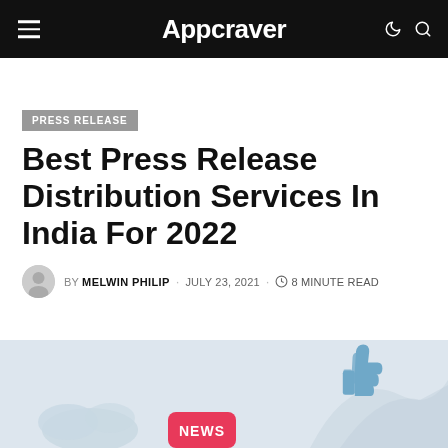Appcraver
PRESS RELEASE
Best Press Release Distribution Services In India For 2022
BY MELWIN PHILIP · JULY 23, 2021 · 8 MINUTE READ
[Figure (illustration): Hero illustration showing press release / news concepts with thumbs up icon, paper airplane, news badge, and cloud graphics on a light blue background]